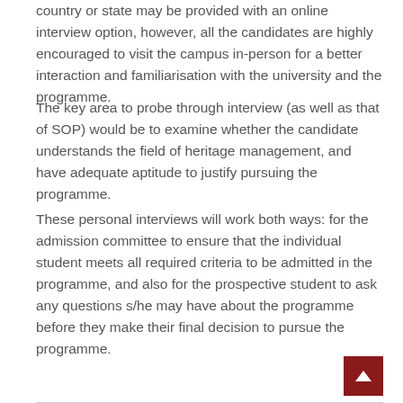country or state may be provided with an online interview option, however, all the candidates are highly encouraged to visit the campus in-person for a better interaction and familiarisation with the university and the programme.
The key area to probe through interview (as well as that of SOP) would be to examine whether the candidate understands the field of heritage management, and have adequate aptitude to justify pursuing the programme.
These personal interviews will work both ways: for the admission committee to ensure that the individual student meets all required criteria to be admitted in the programme, and also for the prospective student to ask any questions s/he may have about the programme before they make their final decision to pursue the programme.